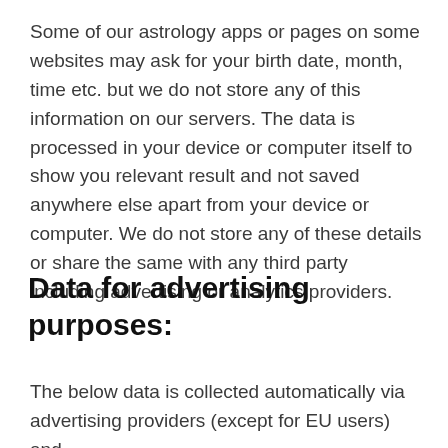Some of our astrology apps or pages on some websites may ask for your birth date, month, time etc. but we do not store any of this information on our servers. The data is processed in your device or computer itself to show you relevant result and not saved anywhere else apart from your device or computer. We do not store any of these details or share the same with any third party including advertising or analytics providers.
Data for advertising purposes:
The below data is collected automatically via advertising providers (except for EU users) and used the same above.